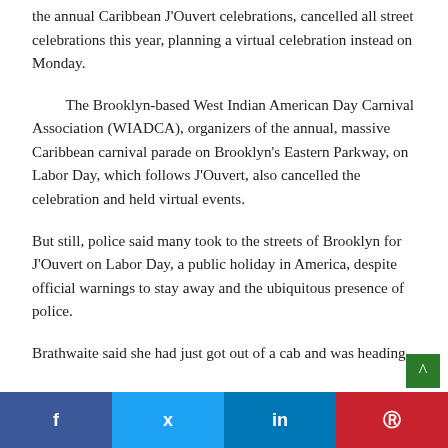the annual Caribbean J'Ouvert celebrations, cancelled all street celebrations this year, planning a virtual celebration instead on Monday.
The Brooklyn-based West Indian American Day Carnival Association (WIADCA), organizers of the annual, massive Caribbean carnival parade on Brooklyn's Eastern Parkway, on Labor Day, which follows J'Ouvert, also cancelled the celebration and held virtual events.
But still, police said many took to the streets of Brooklyn for J'Ouvert on Labor Day, a public holiday in America, despite official warnings to stay away and the ubiquitous presence of police.
Brathwaite said she had just got out of a cab and was heading
f  t  in   Pinterest